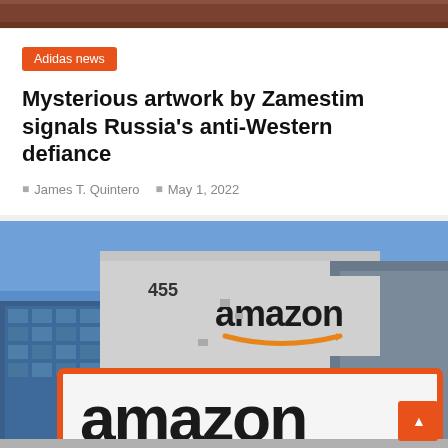[Figure (photo): Top cropped image bar showing a warm brown/wood surface]
Adidas news
Mysterious artwork by Zamestim signals Russia's anti-Western defiance
James T. Quintero   May 1, 2022
[Figure (photo): Amazon warehouse building exterior with large Amazon logo sign in foreground (orange arrow) and another Amazon sign on the building facade, blue sky background, building number 4555 visible]